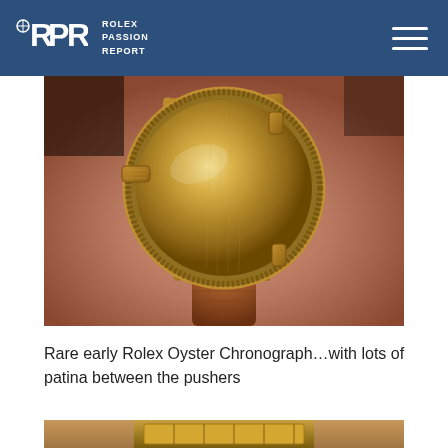RPR ROLEX PASSION REPORT
[Figure (photo): Back view of a vintage Rolex Oyster Chronograph in yellow gold with a tan/brown leather strap, being held in a hand. The watch case back is visible showing the brushed gold surface and engraved bezel. Pushers and crown are visible on the side.]
Rare early Rolex Oyster Chronograph…with lots of patina between the pushers
[Figure (photo): Close-up detail photo of what appears to be a gold watch bracelet or case element, partially visible at the bottom of the page.]